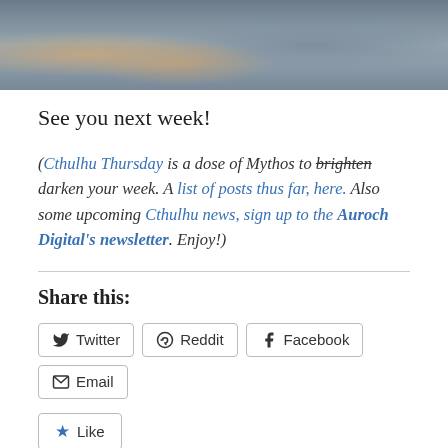[Figure (photo): Photo strip showing people in grey/blue attire, cropped at top of page]
See you next week!
(Cthulhu Thursday is a dose of Mythos to brighten [strikethrough] darken your week. A list of posts thus far, here. Also some upcoming Cthulhu news, sign up to the Auroch Digital's newsletter. Enjoy!)
Share this:
Twitter  Reddit  Facebook  Email
Like
Be the first to like this.
Related